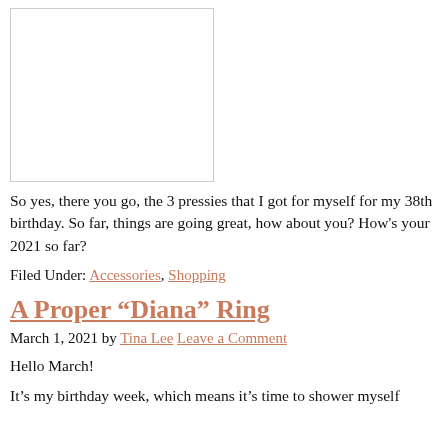[Figure (photo): A mostly white/blank image placeholder with a thin border]
So yes, there you go, the 3 pressies that I got for myself for my 38th birthday. So far, things are going great, how about you? How's your 2021 so far?
Filed Under: Accessories, Shopping
A Proper “Diana” Ring
March 1, 2021 by Tina Lee Leave a Comment
Hello March!
It’s my birthday week, which means it’s time to shower myself